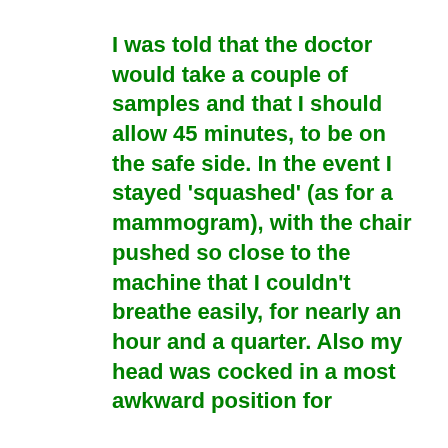I was told that the doctor would take a couple of samples and that I should allow 45 minutes, to be on the safe side. In the event I stayed 'squashed' (as for a mammogram), with the chair pushed so close to the machine that I couldn't breathe easily, for nearly an hour and a quarter. Also my head was cocked in a most awkward position for